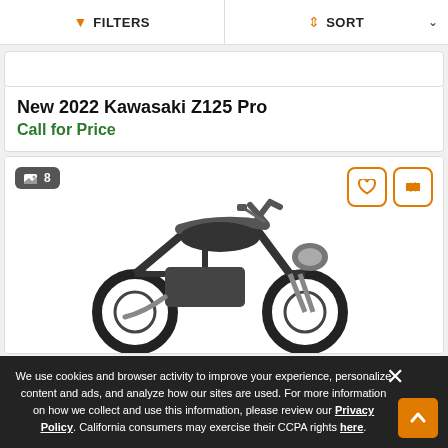FILTERS | SORT
[Figure (photo): Partial top of a vehicle listing card (white background, cropped)]
New 2022 Kawasaki Z125 Pro
Call for Price
[Figure (photo): Motorcycle listing card showing a dark/black Kawasaki Z125 Pro motorcycle, with image count badge showing 8 images, and heart/compare action buttons in orange]
We use cookies and browser activity to improve your experience, personalize content and ads, and analyze how our sites are used. For more information on how we collect and use this information, please review our Privacy Policy. California consumers may exercise their CCPA rights here.